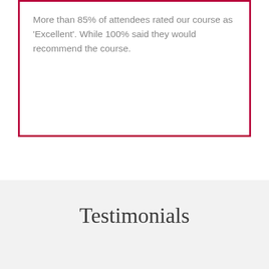More than 85% of attendees rated our course as 'Excellent'. While 100% said they would recommend the course.
Testimonials